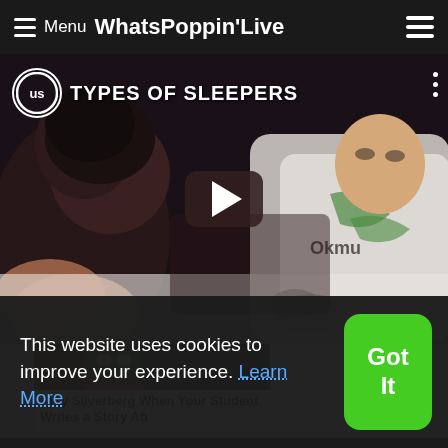Menu WhatsPoppinLive
[Figure (screenshot): Video thumbnail showing two people sleeping in bed, titled TYPES OF SLEEPERS with a play button overlay and channel icon US]
[Figure (photo): Article thumbnail showing a person in green mask costume]
Amy Silverberg When Your Student Writes a Story Ab
This website uses cookies to improve your experience. Learn More
Got It